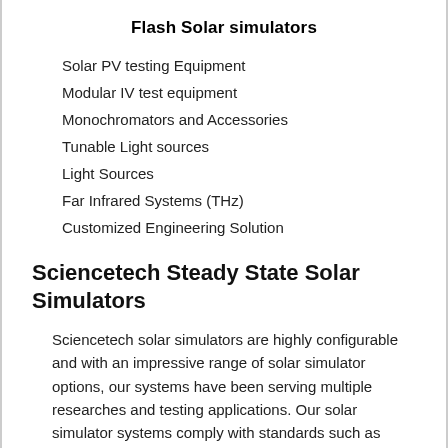Flash Solar simulators
Solar PV testing Equipment
Modular IV test equipment
Monochromators and Accessories
Tunable Light sources
Light Sources
Far Infrared Systems (THz)
Customized Engineering Solution
Sciencetech Steady State Solar Simulators
Sciencetech solar simulators are highly configurable and with an impressive range of solar simulator options, our systems have been serving multiple researches and testing applications. Our solar simulator systems comply with standards such as ASTM, IEC and JIS and provides variability is design to accommodate researcher's requirements. With